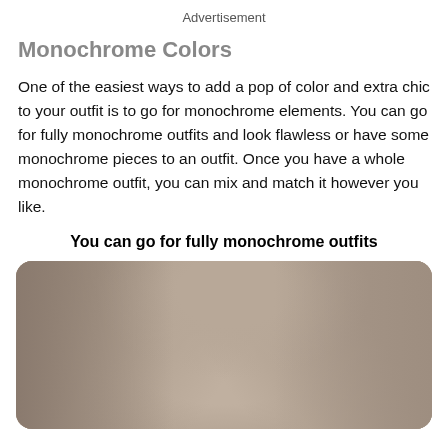Advertisement
Monochrome Colors
One of the easiest ways to add a pop of color and extra chic to your outfit is to go for monochrome elements. You can go for fully monochrome outfits and look flawless or have some monochrome pieces to an outfit. Once you have a whole monochrome outfit, you can mix and match it however you like.
You can go for fully monochrome outfits
[Figure (photo): A person wearing a monochrome beige/taupe outfit consisting of a turtleneck and an oversized blazer coat, photographed from the neck/shoulders down to the waist area.]